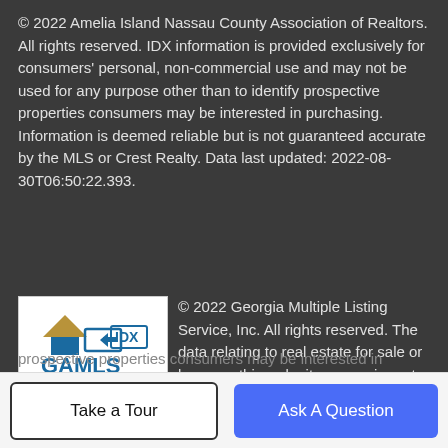© 2022 Amelia Island Nassau County Association of Realtors. All rights reserved. IDX information is provided exclusively for consumers' personal, non-commercial use and may not be used for any purpose other than to identify prospective properties consumers may be interested in purchasing. Information is deemed reliable but is not guaranteed accurate by the MLS or Crest Realty. Data last updated: 2022-08-30T06:50:22.393.
[Figure (logo): GAMLS IDX logo — blue and gold house/arrow design with GAMLS text in blue and IDX in a blue outlined box]
© 2022 Georgia Multiple Listing Service, Inc. All rights reserved. The data relating to real estate for sale or lease on this web site comes in part from GAMLS. Real estate listings held by brokerage firms other than Crest Realty are marked with the GAMLS logo or an abbreviated logo and detailed information about them includes the name of the listing broker. IDX information is provided exclusively for consumers' personal, non-commercial use and may not be used for any purpose other than to identify prospective properties consumers may be interested in
Take a Tour
Ask A Question